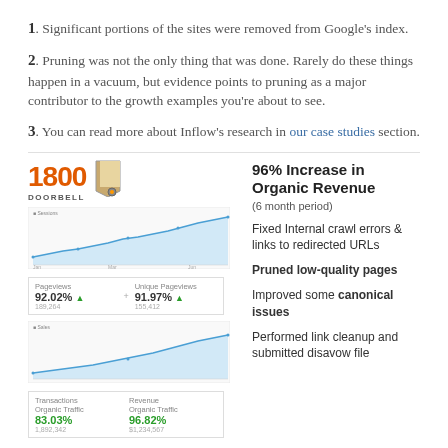1. Significant portions of the sites were removed from Google's index.
2. Pruning was not the only thing that was done. Rarely do these things happen in a vacuum, but evidence points to pruning as a major contributor to the growth examples you're about to see.
3. You can read more about Inflow's research in our case studies section.
[Figure (infographic): 1800 Doorbell logo with infographic showing 96% Increase in Organic Revenue (6 month period), two line charts showing traffic growth, stat boxes with 92.02% and 91.97% metrics, and bullet points: Fixed Internal crawl errors & links to redirected URLs, Pruned low-quality pages, Improved some canonical issues, Performed link cleanup and submitted disavow file]